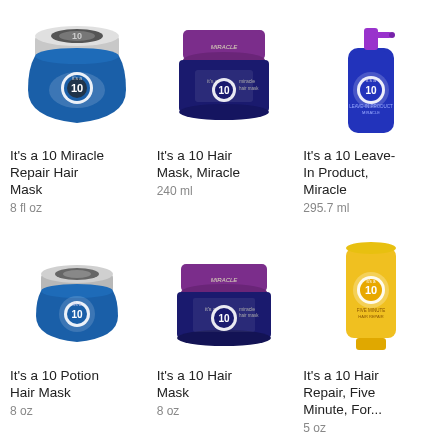[Figure (photo): It's a 10 Miracle Repair Hair Mask jar, blue with silver lid, 8 fl oz]
It's a 10 Miracle Repair Hair Mask
8 fl oz
[Figure (photo): It's a 10 Hair Mask Miracle jar, purple lid, navy body, 240 ml]
It's a 10 Hair Mask, Miracle
240 ml
[Figure (photo): It's a 10 Leave-In Product Miracle spray bottle, blue, 295.7 ml]
It's a 10 Leave-In Product, Miracle
295.7 ml
[Figure (photo): It's a 10 Potion Hair Mask small jar, blue with silver lid, 8 oz]
It's a 10 Potion Hair Mask
8 oz
[Figure (photo): It's a 10 Hair Mask jar, purple lid, navy body, 8 oz]
It's a 10 Hair Mask
8 oz
[Figure (photo): It's a 10 Hair Repair Five Minute tube, yellow, 5 oz]
It's a 10 Hair Repair, Five Minute, For...
5 oz